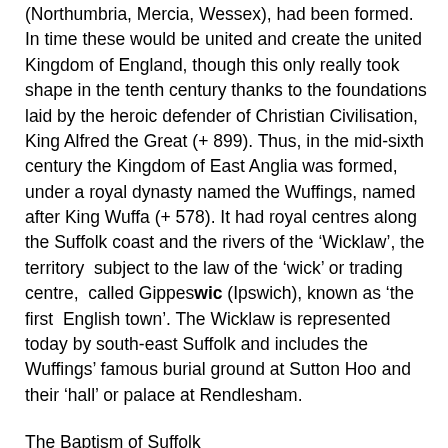(Northumbria, Mercia, Wessex), had been formed. In time these would be united and create the united Kingdom of England, though this only really took shape in the tenth century thanks to the foundations laid by the heroic defender of Christian Civilisation, King Alfred the Great (+ 899). Thus, in the mid-sixth century the Kingdom of East Anglia was formed, under a royal dynasty named the Wuffings, named after King Wuffa (+ 578). It had royal centres along the Suffolk coast and the rivers of the 'Wicklaw', the territory subject to the law of the 'wick' or trading centre, called Gippeswic (Ipswich), known as 'the first English town'. The Wicklaw is represented today by south-east Suffolk and includes the Wuffings' famous burial ground at Sutton Hoo and their 'hall' or palace at Rendlesham.
The Baptism of Suffolk
Faith in Christ came northwards to Suffolk from Kent through Essex. Sutton Hoo and the archaeological finds made there